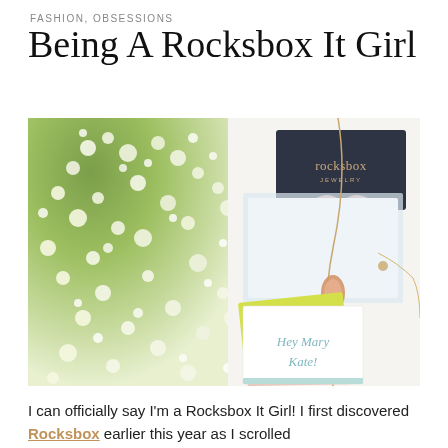FASHION, OBSESSIONS
Being A Rocksbox It Girl
[Figure (photo): Flat-lay photo of a Rocksbox jewelry subscription box. On the left side is baby's breath (white and green flowers). On the right side is a dark navy Rocksbox jewelry box with gold 'rocksbox' branding, a peach/blush ribbon, gold necklace with pendant, small earring, and greeting cards including one that reads 'Hey Mary Kate!']
I can officially say I'm a Rocksbox It Girl!  I first discovered Rocksbox earlier this year as I scrolled